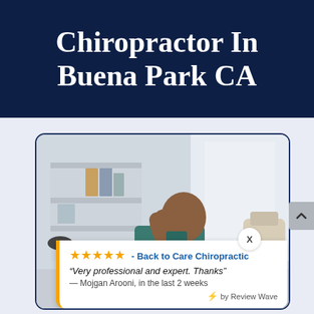Chiropractor In Buena Park CA
[Figure (photo): Man sitting at a desk with his head resting on his hand, appearing to be in pain or stressed, in an office setting with shelves and a chair visible in the background]
★★★★★ - Back to Care Chiropractic
"Very professional and expert. Thanks"
— Mojgan Arooni, in the last 2 weeks
⚡ by Review Wave